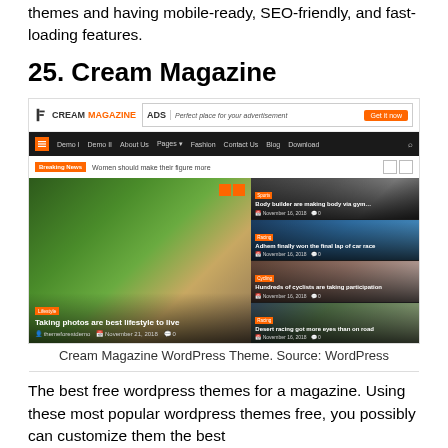themes and having mobile-ready, SEO-friendly, and fast-loading features.
25. Cream Magazine
[Figure (screenshot): Screenshot of the Cream Magazine WordPress theme showing logo, navigation bar, breaking news ticker, and a grid of news article cards with images.]
Cream Magazine WordPress Theme. Source: WordPress
The best free wordpress themes for a magazine. Using these most popular wordpress themes free, you possibly can customize them the best